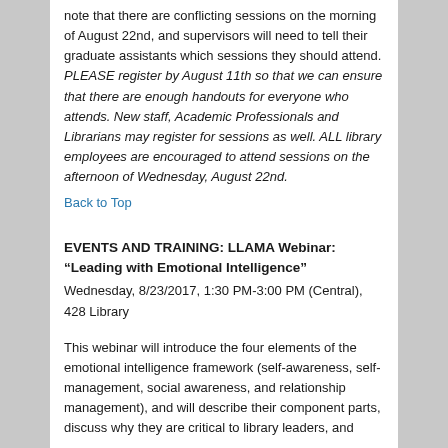note that there are conflicting sessions on the morning of August 22nd, and supervisors will need to tell their graduate assistants which sessions they should attend. PLEASE register by August 11th so that we can ensure that there are enough handouts for everyone who attends. New staff, Academic Professionals and Librarians may register for sessions as well. ALL library employees are encouraged to attend sessions on the afternoon of Wednesday, August 22nd.
Back to Top
EVENTS AND TRAINING: LLAMA Webinar: “Leading with Emotional Intelligence”
Wednesday, 8/23/2017, 1:30 PM-3:00 PM (Central), 428 Library
This webinar will introduce the four elements of the emotional intelligence framework (self-awareness, self-management, social awareness, and relationship management), and will describe their component parts, discuss why they are critical to library leaders, and